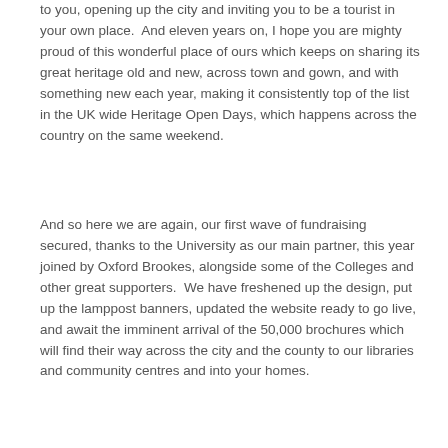to you, opening up the city and inviting you to be a tourist in your own place.  And eleven years on, I hope you are mighty proud of this wonderful place of ours which keeps on sharing its great heritage old and new, across town and gown, and with something new each year, making it consistently top of the list in the UK wide Heritage Open Days, which happens across the country on the same weekend.
And so here we are again, our first wave of fundraising secured, thanks to the University as our main partner, this year joined by Oxford Brookes, alongside some of the Colleges and other great supporters.  We have freshened up the design, put up the lamppost banners, updated the website ready to go live, and await the imminent arrival of the 50,000 brochures which will find their way across the city and the county to our libraries and community centres and into your homes.